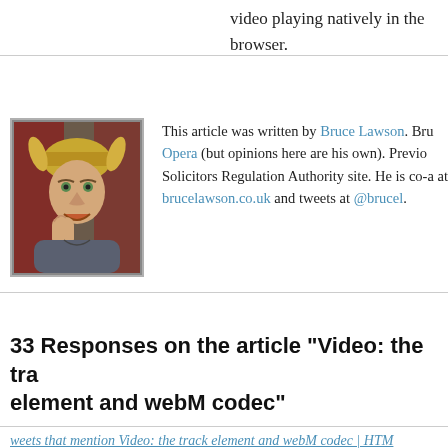video playing natively in the browser.
This article was written by Bruce Lawson. Bruce works for Opera (but opinions here are his own). Previously he built the Solicitors Regulation Authority site. He is co-author of Introducing HTML5. He blogs at brucelawson.co.uk and tweets at @brucel.
33 Responses on the article “Video: the track element and webM codec”
weets that mention Video: the track element and webM codec | HTM
June 24, 2010 at 3:10 pm
This post was mentioned on Twitter by br Robinson, Oscar D Flórez H, Boye and ot <track> element and webM codec http://j. @html5doctor) [...]